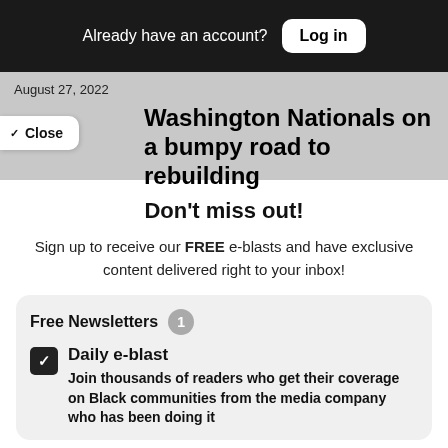Already have an account? Log in
August 27, 2022
Washington Nationals on a bumpy road to rebuilding
Close
Don't miss out!
Sign up to receive our FREE e-blasts and have exclusive content delivered right to your inbox!
Free Newsletters 1
Daily e-blast
Join thousands of readers who get their coverage on Black communities from the media company who has been doing it